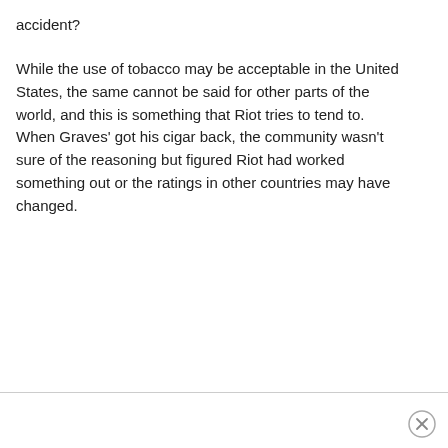accident?
While the use of tobacco may be acceptable in the United States, the same cannot be said for other parts of the world, and this is something that Riot tries to tend to. When Graves' got his cigar back, the community wasn't sure of the reasoning but figured Riot had worked something out or the ratings in other countries may have changed.